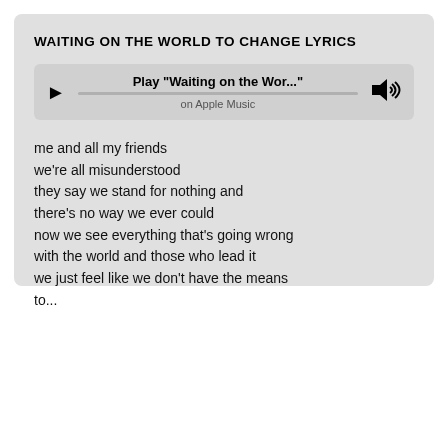WAITING ON THE WORLD TO CHANGE LYRICS
[Figure (screenshot): Apple Music player bar showing Play 'Waiting on the Wor...' with progress bar and volume icon, subtitle 'on Apple Music']
me and all my friends
we're all misunderstood
they say we stand for nothing and
there's no way we ever could
now we see everything that's going wrong
with the world and those who lead it
we just feel like we don't have the means
to...